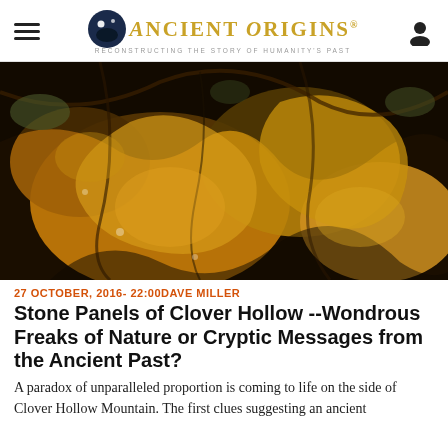Ancient Origins — Reconstructing the story of humanity's past
[Figure (photo): Close-up photo of yellowish-orange geological stone panels or rock formations covered with organic matter, moss, and roots at Clover Hollow Mountain.]
27 OCTOBER, 2016- 22:00 DAVE MILLER
Stone Panels of Clover Hollow --Wondrous Freaks of Nature or Cryptic Messages from the Ancient Past?
A paradox of unparalleled proportion is coming to life on the side of Clover Hollow Mountain. The first clues suggesting an ancient